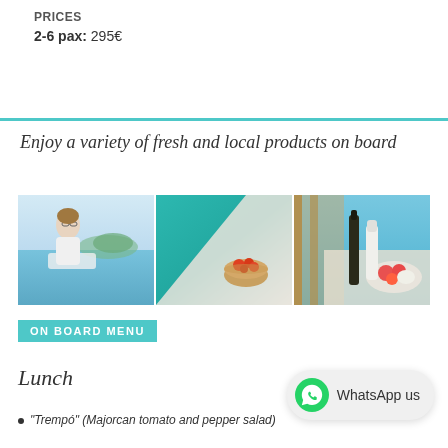PRICES
2-6 pax: 295€
Enjoy a variety of fresh and local products on board
[Figure (photo): Three photos: man relaxing on boat, teal sea surface with bowl of food, bottles and vegetables on boat deck]
ON BOARD MENU
Lunch
"Trempó" (Majorcan tomato and pepper salad)